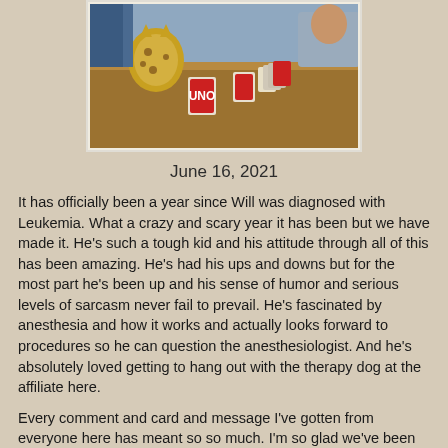[Figure (photo): Photo of people playing Uno card game at a table with a stuffed leopard/cheetah toy sitting on the table]
June 16, 2021
It has officially been a year since Will was diagnosed with Leukemia.  What a crazy and scary year it has been but we have made it.  He's such a tough kid and his attitude through all of this has been amazing.  He's had his ups and downs but for the most part he's been up and his sense of humor and serious levels of sarcasm never fail to prevail.  He's fascinated by anesthesia and how it works and actually looks forward to procedures so he can question the anesthesiologist.  And he's absolutely loved getting to hang out with the therapy dog at the affiliate here.
Every comment and card and message I've gotten from everyone here has meant so so much.  I'm so glad we've been able to stay together as a family but this is so isolating